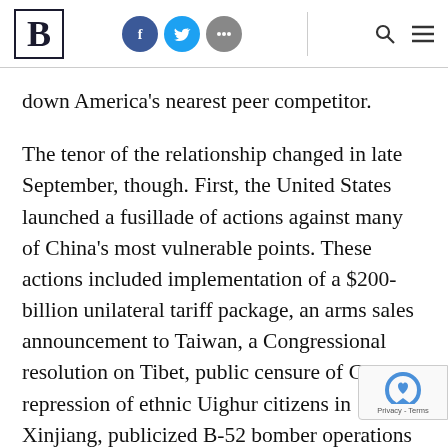B [logo] — social icons (Facebook, Twitter, More) — Search, Menu
down America's nearest peer competitor.
The tenor of the relationship changed in late September, though. First, the United States launched a fusillade of actions against many of China's most vulnerable points. These actions included implementation of a $200-billion unilateral tariff package, an arms sales announcement to Taiwan, a Congressional resolution on Tibet, public censure of China's repression of ethnic Uighur citizens in Xinjiang, publicized B-52 bomber operations in the South East China Seas, the first sanctions on the Peo